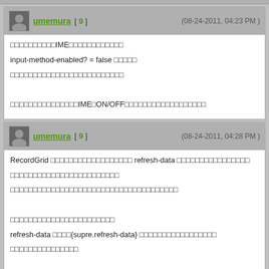umemura [ 9 ] (08-24-2011, 04:23 PM)
IME input-method-enabled? = false
IME ON/OFF
umemura [ 9 ] (08-24-2011, 04:28 PM)
RecordGrid refresh-data
refresh-data {supre.refresh-data}
possibly-displayed?
Code: [if  self possibly-displayed? == true then